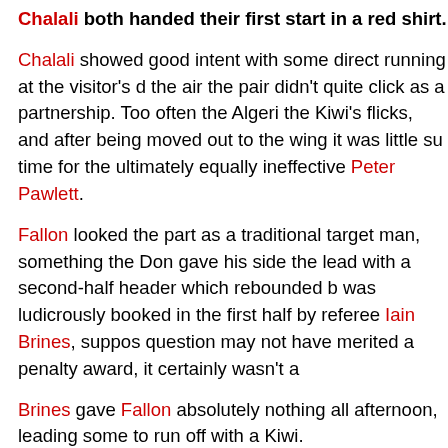Chalali both handed their first start in a red shirt.
Chalali showed good intent with some direct running at the visitor's d... the air the pair didn't quite click as a partnership. Too often the Algeri... the Kiwi's flicks, and after being moved out to the wing it was little su... time for the ultimately equally ineffective Peter Pawlett.
Fallon looked the part as a traditional target man, something the Don... gave his side the lead with a second-half header which rebounded b... was ludicrously booked in the first half by referee Iain Brines, suppos... question may not have merited a penalty award, it certainly wasn't a...
Brines gave Fallon absolutely nothing all afternoon, leading some to... run off with a Kiwi.
In a way Craig Brown should thank Brines for his blunder, as tha... after the second Killie goal, the heads had gone down, and it wa... the Dons looked fired up and hungry for vengeance.
Aside from the defensive lapses for the goals – one a missed header... heading the equaliser, the other an instance of the entire midfield goi...